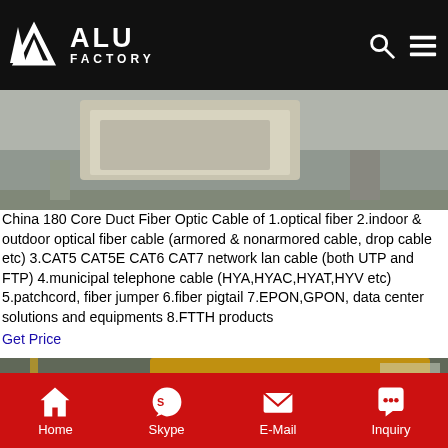ALU FACTORY
[Figure (photo): Industrial warehouse floor with concrete blocks/pallets]
China 180 Core Duct Fiber Optic Cable of 1.optical fiber 2.indoor & outdoor optical fiber cable (armored & nonarmored cable, drop cable etc) 3.CAT5 CAT5E CAT6 CAT7 network lan cable (both UTP and FTP) 4.municipal telephone cable (HYA,HYAC,HYAT,HYV etc) 5.patchcord, fiber jumper 6.fiber pigtail 7.EPON,GPON, data center solutions and equipments 8.FTTH products
Get Price
[Figure (photo): Industrial factory interior with large aluminum coil rolls and overhead crane]
Home  Skype  E-Mail  Inquiry